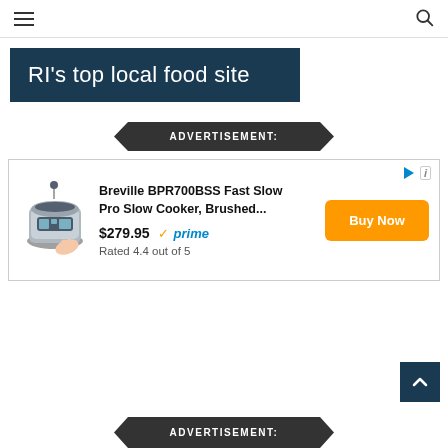≡  [search icon]
RI's top local food site
ADVERTISEMENT:
[Figure (other): Advertisement for Breville BPR700BSS Fast Slow Pro Slow Cooker, Brushed... priced at $279.95 with Amazon Prime and Buy Now button. Rated 4.4 out of 5.]
ADVERTISEMENT: